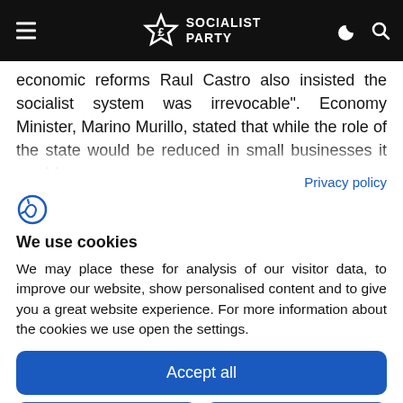Socialist Party
economic reforms Raul Castro also insisted the socialist system was irrevocable". Economy Minister, Marino Murillo, stated that while the role of the state would be reduced in small businesses it would, "continue to direct a centralised economy". The
Privacy policy
We use cookies
We may place these for analysis of our visitor data, to improve our website, show personalised content and to give you a great website experience. For more information about the cookies we use open the settings.
Accept all
Deny
No, adjust